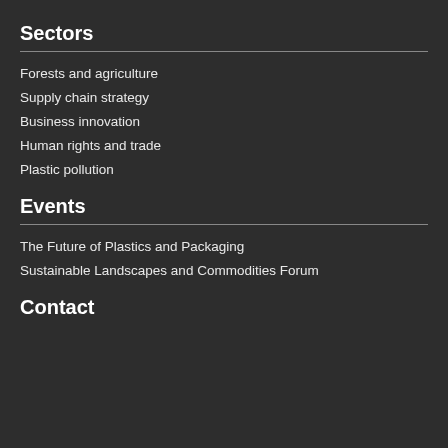Sectors
Forests and agriculture
Supply chain strategy
Business innovation
Human rights and trade
Plastic pollution
Events
The Future of Plastics and Packaging
Sustainable Landscapes and Commodities Forum
Contact